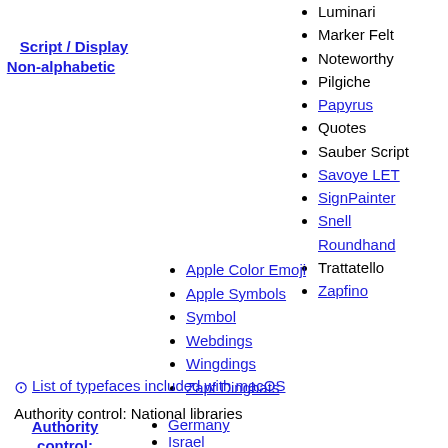Luminari
Marker Felt
Noteworthy
Pilgiche
Papyrus
Quotes
Sauber Script
Savoye LET
SignPainter
Snell Roundhand
Trattatello
Zapfino
Script / Display
Apple Color Emoji
Apple Symbols
Symbol
Webdings
Wingdings
Zapf Dingbats
Non-alphabetic
List of typefaces included with macOS
Authority control: National libraries
Authority control: National
Germany
Israel
United States